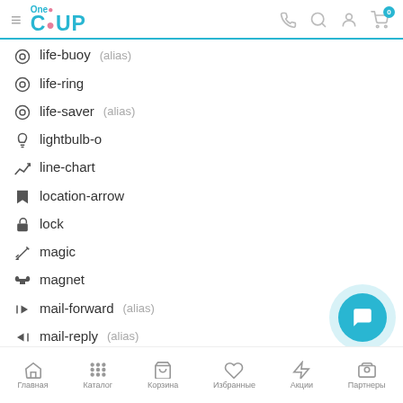One CUP — navigation header with logo and icons
⊙ life-buoy (alias)
⊙ life-ring
⊙ life-saver (alias)
lightbulb-o
line-chart
location-arrow
lock
magic
magnet
mail-forward (alias)
mail-reply (alias)
mail-reply-all (alias)
male
Главная  Каталог  Корзина  Избранные  Акции  Партнеры